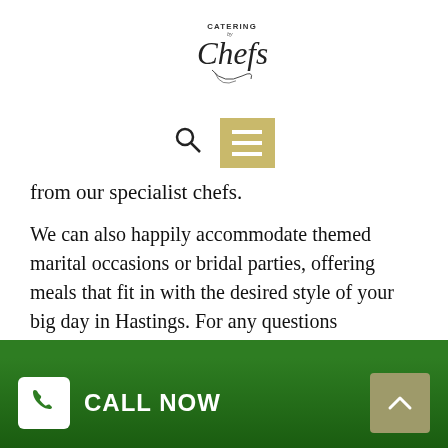[Figure (logo): Catering by Chefs logo — cursive script with decorative flourish]
[Figure (infographic): Navigation icons: search magnifying glass and gold/tan hamburger menu button]
from our specialist chefs.
We can also happily accommodate themed marital occasions or bridal parties, offering meals that fit in with the desired style of your big day in Hastings. For any questions regarding personalized menus, please don't hesitate to call Phil on (03) 9068 5053.
Our Chefs Will Work Closely With You!
We understand perfectly that this is the greatest day of
[Figure (infographic): Green footer bar with white phone icon box, CALL NOW text, and scroll-to-top button]